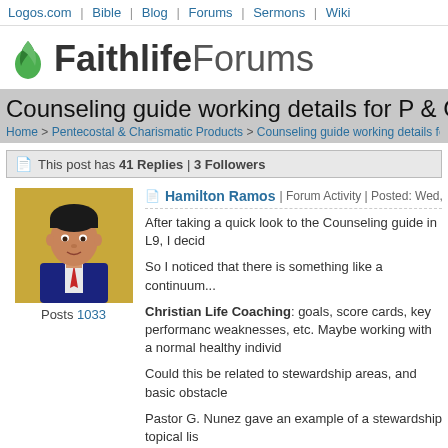Logos.com | Bible | Blog | Forums | Sermons | Wiki
Faithlife Forums
Counseling guide working details for P & C
Home > Pentecostal & Charismatic Products > Counseling guide working details for P & C
This post has 41 Replies | 3 Followers
Hamilton Ramos | Forum Activity | Posted: Wed, Dec 30 2020 4:50
[Figure (photo): Profile photo of Hamilton Ramos, man in suit with red tie on yellow background]
Posts 1033
After taking a quick look to the Counseling guide in L9, I decid
So I noticed that there is something like a continuum...
Christian Life Coaching: goals, score cards, key performanc weaknesses, etc. Maybe working with a normal healthy individ
Could this be related to stewardship areas, and basic obstacle
Pastor G. Nunez gave an example of a stewardship topical lis
Words of my mouth
assets